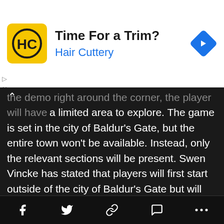[Figure (other): Hair Cuttery advertisement banner with yellow logo, 'Time For a Trim?' headline, 'Hair Cuttery' subtitle in blue, and a blue diamond navigation arrow icon]
the demo right around the corner, the player will have a limited area to explore. The game is set in the city of Baldur's Gate, but the entire town won't be available. Instead, only the relevant sections will be present. Swen Vincke has stated that players will first start outside of the city of Baldur's Gate but will head into the city. The demo that was shown didn't reach Baldur's Gate, and the things we all see are the first 10-20 hours, which suggests that there is going to a lot of content before the players will enter the titular city. As for the story, it is set during the era of the Forgotten Realms in which mind flayers have figured out a way to make ships that will allow them to travel through different worlds.
Social sharing toolbar with Facebook, Twitter, link, comment, and more icons